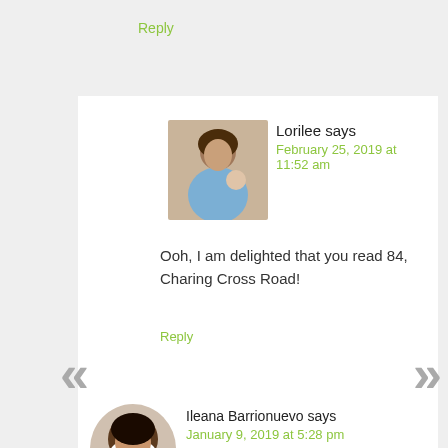Reply
Lorilee says
February 25, 2019 at 11:52 am
Ooh, I am delighted that you read 84, Charing Cross Road!
Reply
Ileana Barrionuevo says
January 9, 2019 at 5:28 pm
I'd like to get Ghosted because I love